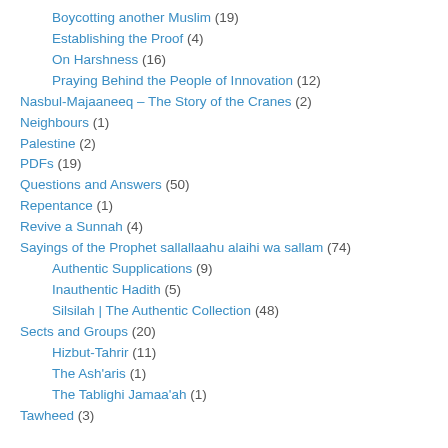Boycotting another Muslim (19)
Establishing the Proof (4)
On Harshness (16)
Praying Behind the People of Innovation (12)
Nasbul-Majaaneeq – The Story of the Cranes (2)
Neighbours (1)
Palestine (2)
PDFs (19)
Questions and Answers (50)
Repentance (1)
Revive a Sunnah (4)
Sayings of the Prophet sallallaahu alaihi wa sallam (74)
Authentic Supplications (9)
Inauthentic Hadith (5)
Silsilah | The Authentic Collection (48)
Sects and Groups (20)
Hizbut-Tahrir (11)
The Ash'aris (1)
The Tablighi Jamaa'ah (1)
Tawheed (3)